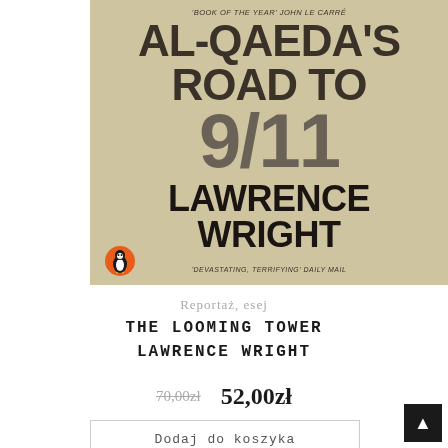[Figure (illustration): Book cover of 'The Looming Tower' by Lawrence Wright (Penguin edition). Beige/tan textured background. Text reads: 'BOOK OF THE YEAR' JOHN LE CARRÉ at top, then AL-QAEDA'S ROAD TO 9/11 in bold dark serif, then LAWRENCE WRIGHT in large bold black text, with 'DEVASTATING, TERRIFYING' DAILY MAIL at the bottom. Penguin Books orange circle logo with penguin at bottom left.]
Reportaż, esej
THE LOOMING TOWER
LAWRENCE WRIGHT
70,00zł  52,00zł
Dodaj do koszyka